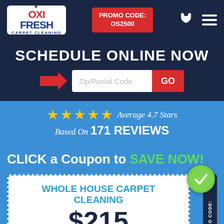[Figure (logo): Oxi Fresh Carpet Cleaning logo in white box]
PROMO CODE: OS2500
SCHEDULE ONLINE NOW
Zip/Postal Code GO
Average 4.7 Stars Based On 171 REVIEWS
CLICK a Coupon to SAVE NOW!
WHOLE HOUSE CARPET CLEANING $215